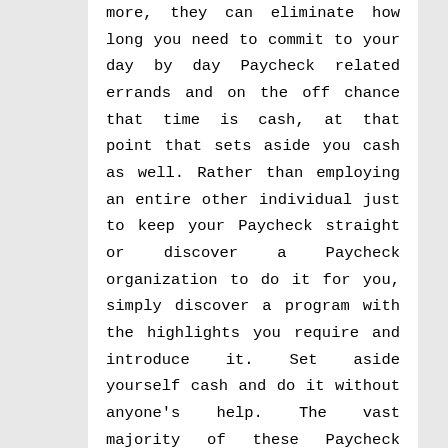more, they can eliminate how long you need to commit to your day by day Paycheck related errands and on the off chance that time is cash, at that point that sets aside you cash as well. Rather than employing an entire other individual just to keep your Paycheck straight or discover a Paycheck organization to do it for you, simply discover a program with the highlights you require and introduce it. Set aside yourself cash and do it without anyone's help. The vast majority of these Paycheck programming bundles are anything but difficult to sort out some way to utilize.